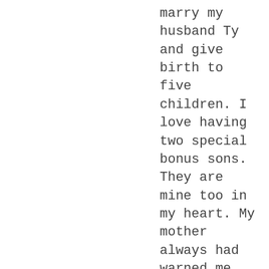marry my husband Ty and give birth to five children. I love having two special bonus sons. They are mine too in my heart. My mother always had warned me how fast it would go by. She was the greatest